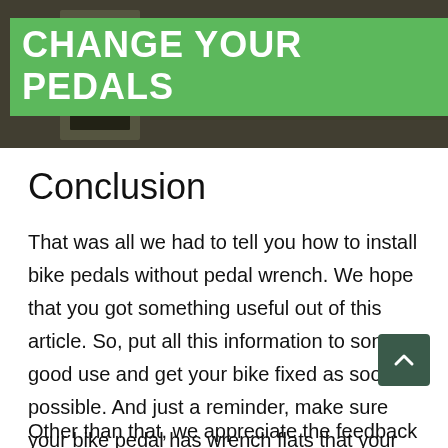[Figure (photo): Header image of a bicycle with a green banner overlay reading CHANGE YOUR PEDALS]
Conclusion
That was all we had to tell you how to install bike pedals without pedal wrench. We hope that you got something useful out of this article. So, put all this information to some good use and get your bike fixed as soon as possible. And just a reminder, make sure your bike pedal has wrench flats that your normal wrench can connect to.
Other than that, we appreciate the feedback